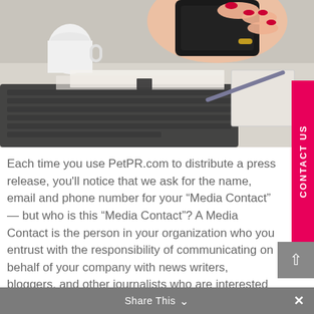[Figure (photo): Woman's hands holding a black smartphone over a desk with a keyboard, notebook, pen, and white coffee mug]
Each time you use PetPR.com to distribute a press release, you'll notice that we ask for the name, email and phone number for your “Media Contact” — but who is this “Media Contact”? A Media Contact is the person in your organization who you entrust with the responsibility of communicating on behalf of your company with news writers, bloggers, and other journalists who are interested in your news.